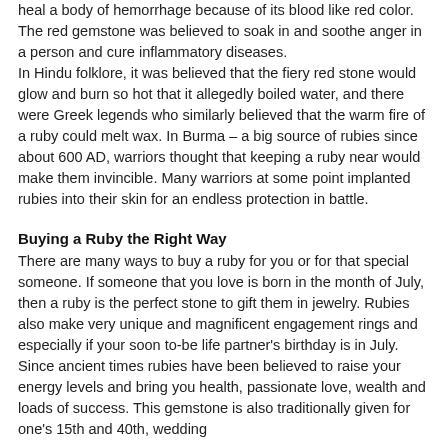heal a body of hemorrhage because of its blood like red color. The red gemstone was believed to soak in and soothe anger in a person and cure inflammatory diseases. In Hindu folklore, it was believed that the fiery red stone would glow and burn so hot that it allegedly boiled water, and there were Greek legends who similarly believed that the warm fire of a ruby could melt wax. In Burma – a big source of rubies since about 600 AD, warriors thought that keeping a ruby near would make them invincible. Many warriors at some point implanted rubies into their skin for an endless protection in battle.
Buying a Ruby the Right Way
There are many ways to buy a ruby for you or for that special someone. If someone that you love is born in the month of July, then a ruby is the perfect stone to gift them in jewelry. Rubies also make very unique and magnificent engagement rings and especially if your soon to-be life partner's birthday is in July. Since ancient times rubies have been believed to raise your energy levels and bring you health, passionate love, wealth and loads of success. This gemstone is also traditionally given for one's 15th and 40th, wedding